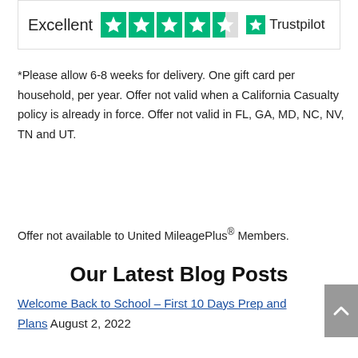[Figure (logo): Trustpilot rating widget showing 'Excellent' with 4.5 green stars and Trustpilot logo]
*Please allow 6-8 weeks for delivery. One gift card per household, per year. Offer not valid when a California Casualty policy is already in force. Offer not valid in FL, GA, MD, NC, NV, TN and UT.
Offer not available to United MileagePlus® Members.
Our Latest Blog Posts
Welcome Back to School – First 10 Days Prep and Plans August 2, 2022
Mark D. Pitchford Has Been Elected Executive Vice President and Chief Marketing Officer of California Casualty July 22, 2022
Lesson Planning – Classroom Transformations!